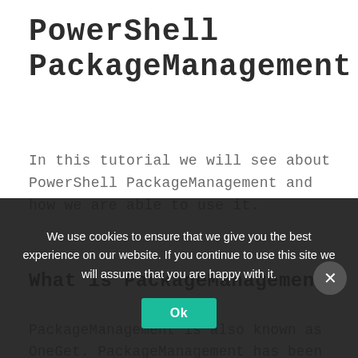PowerShell PackageManagement
In this tutorial we will see about PowerShell PackageManagement and how we are able to use it.
What is PackageManagement
PackageManagement is also known as OneGet. PackageManagement has been introduced in Windows PowerShell 5.0. PackageManagement is a unified interface for package management systems. It aims to make Software Discovery, Installation and Inventory (SDII) of software packages...
We use cookies to ensure that we give you the best experience on our website. If you continue to use this site we will assume that you are happy with it.